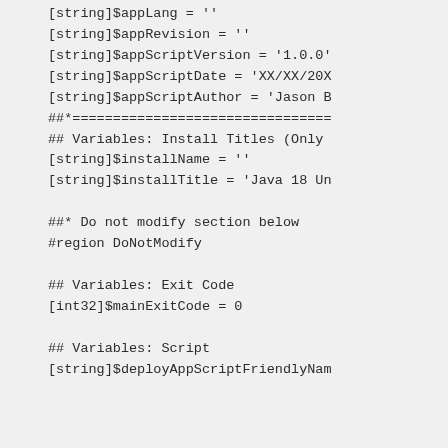[string]$appLang = ''
[string]$appRevision = ''
[string]$appScriptVersion = '1.0.0'
[string]$appScriptDate = 'XX/XX/20X'
[string]$appScriptAuthor = 'Jason B
##*================================
## Variables: Install Titles (Only
[string]$installName = ''
[string]$installTitle = 'Java 18 Un

##* Do not modify section below
#region DoNotModify

## Variables: Exit Code
[int32]$mainExitCode = 0

## Variables: Script
[string]$deployAppScriptFriendlyNam